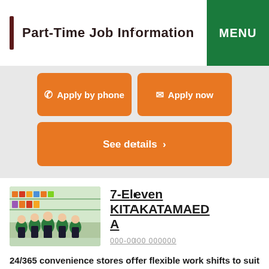Part-Time Job Information
Apply by phone
Apply now
See details
[Figure (photo): Group photo of 7-Eleven staff members in green uniforms standing in a convenience store]
7-Eleven KITAKATAMAEDA
000-0000 000000
24/365 convenience stores offer flexible work shifts to suit your lifestyle, such as early mornings, late nights, short hours and weekends.
Salary： Hourly pay from 830 yen